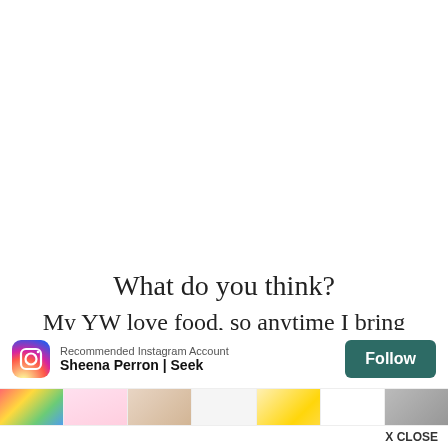What do you think?
My YW love food, so anytime I bring handouts, it usually has some type of treat with it. When
[Figure (screenshot): Instagram recommended account popup showing 'Sheena Perron | Seek' with a Follow button and thumbnail images from the account, plus X CLOSE button at bottom right]
Faith,
I